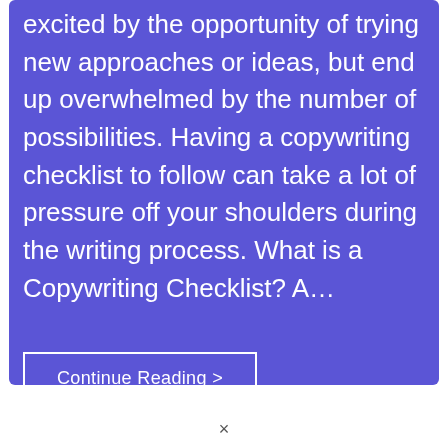excited by the opportunity of trying new approaches or ideas, but end up overwhelmed by the number of possibilities. Having a copywriting checklist to follow can take a lot of pressure off your shoulders during the writing process. What is a Copywriting Checklist? A…
Continue Reading >
×